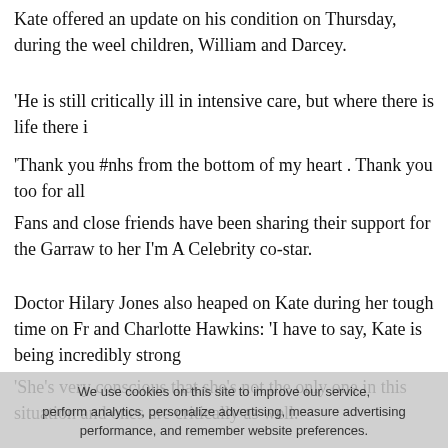Kate offered an update on his condition on Thursday, during the wee children, William and Darcey.
'He is still critically ill in intensive care, but where there is life there i
'Thank you #nhs from the bottom of my heart . Thank you too for all
Fans and close friends have been sharing their support for the Garraw to her I'm A Celebrity co-star.
Doctor Hilary Jones also heaped on Kate during her tough time on Fr and Charlotte Hawkins: 'I have to say, Kate is being incredibly strong
'She's very conscious that she's not the only one in this situation and ones are critically as well.
We use cookies on this site to improve our service, perform analytics, personalize advertising, measure advertising performance, and remember website preferences.
'She's being very pragmatic, very strong, at a very difficult time.
'Everybody sends lots of love and support to her and are keeping thei